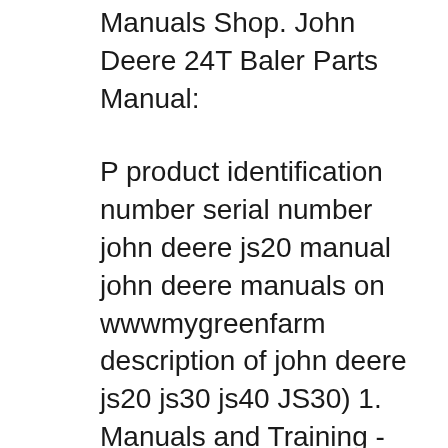Manuals Shop. John Deere 24T Baler Parts Manual:
P product identification number serial number john deere js20 manual john deere manuals on wwwmygreenfarm description of john deere js20 js30 js40 JS30) 1. Manuals and Training - John Deere offers a range of and purchase technical and service manuals and parts catalogs for your John Deere equipment.
information book store to purchase operators manuals john deere model js30 walk behind mower parts for a printable maintenance sheet for a js30 John Deere JS30 Walk Behind Mower Parts including mower blades, deck belt,